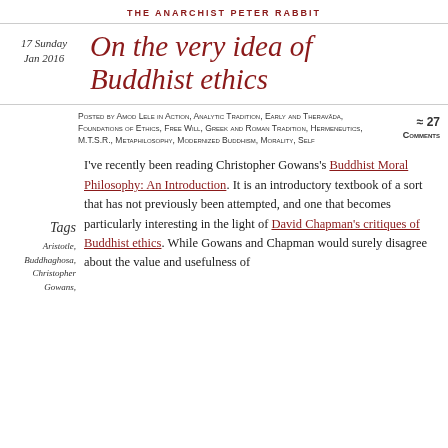THE ANARCHIST PETER RABBIT
17 Sunday
Jan 2016
On the very idea of Buddhist ethics
Posted by Amod Lele in Action, Analytic Tradition, Early and Theravāda, Foundations of Ethics, Free Will, Greek and Roman Tradition, Hermeneutics, M.T.S.R., Metaphilosophy, Modernized Buddhism, Morality, Self
≈ 27 Comments
Tags
Aristotle,
Buddhaghosa,
Christopher
Gowans,
I've recently been reading Christopher Gowans's Buddhist Moral Philosophy: An Introduction. It is an introductory textbook of a sort that has not previously been attempted, and one that becomes particularly interesting in the light of David Chapman's critiques of Buddhist ethics. While Gowans and Chapman would surely disagree about the value and usefulness of